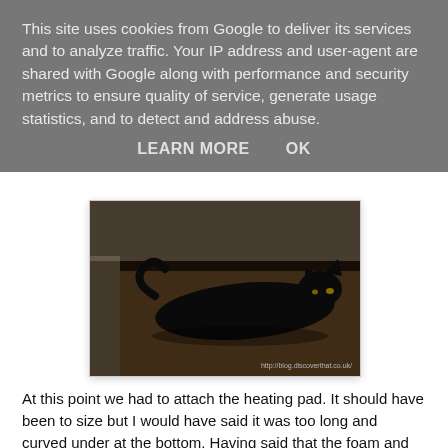This site uses cookies from Google to deliver its services and to analyze traffic. Your IP address and user-agent are shared with Google along with performance and security metrics to ensure quality of service, generate usage statistics, and to detect and address abuse.
LEARN MORE   OK
[Figure (photo): A black cat lying on a tiled floor near a wall/baseboard. The photo is dark with warm brown floor tiles visible. Watermark reads http://blog.discoverthat.co.uk/]
At this point we had to attach the heating pad. It should have been to size but I would have said it was too long and curved under at the bottom. Having said that the foam and the cover also curves under at the bottom so perhaps that was how it was intended.